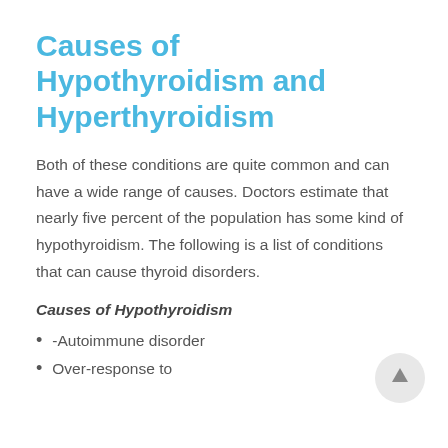Causes of Hypothyroidism and Hyperthyroidism
Both of these conditions are quite common and can have a wide range of causes. Doctors estimate that nearly five percent of the population has some kind of hypothyroidism. The following is a list of conditions that can cause thyroid disorders.
Causes of Hypothyroidism
-Autoimmune disorder
Over-response to